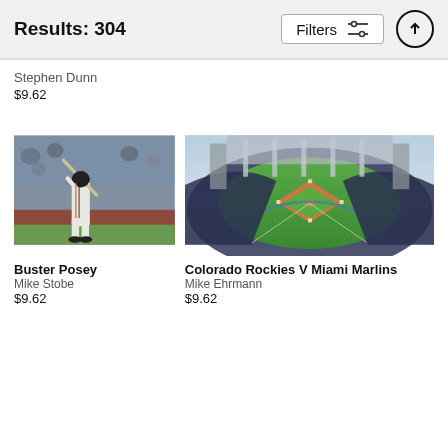Results: 304
Filters
Stephen Dunn
$9.62
[Figure (photo): Baseball player Buster Posey in batting stance at stadium]
Buster Posey
Mike Stobe
$9.62
[Figure (photo): Aerial view of baseball stadium - Colorado Rockies V Miami Marlins]
Colorado Rockies V Miami Marlins
Mike Ehrmann
$9.62